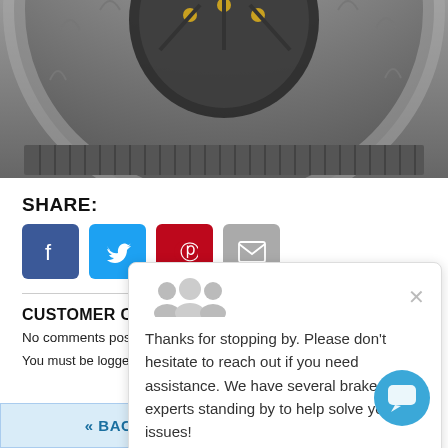[Figure (photo): Close-up photo of a slotted brake disc/rotor showing the top arc with curved slots and center hub with gold bolts and aluminum hat]
SHARE:
[Figure (infographic): Social sharing buttons: Facebook (blue), Twitter (blue), Pinterest (red), Email (gray)]
CUSTOMER COMMENTS:
No comments posted yet
You must be logged in to leave a Comment
[Figure (screenshot): Live chat popup with user avatar icons, close button, and message: Thanks for stopping by. Please don't hesitate to reach out if you need assistance. We have several brake experts standing by to help solve your issues!]
« BACK TO LISTING